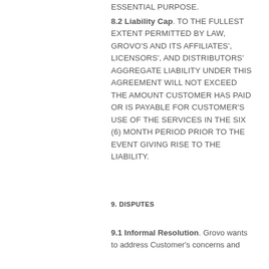ESSENTIAL PURPOSE.
8.2 Liability Cap. TO THE FULLEST EXTENT PERMITTED BY LAW, GROVO'S AND ITS AFFILIATES', LICENSORS', AND DISTRIBUTORS' AGGREGATE LIABILITY UNDER THIS AGREEMENT WILL NOT EXCEED THE AMOUNT CUSTOMER HAS PAID OR IS PAYABLE FOR CUSTOMER'S USE OF THE SERVICES IN THE SIX (6) MONTH PERIOD PRIOR TO THE EVENT GIVING RISE TO THE LIABILITY.
9. DISPUTES
9.1 Informal Resolution. Grovo wants to address Customer's concerns and